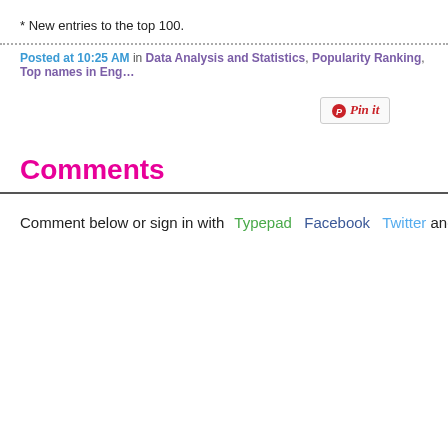* New entries to the top 100.
Posted at 10:25 AM in Data Analysis and Statistics, Popularity Ranking, Top names in Eng…
[Figure (other): Pin it button]
Comments
Comment below or sign in with Typepad Facebook Twitter and m…